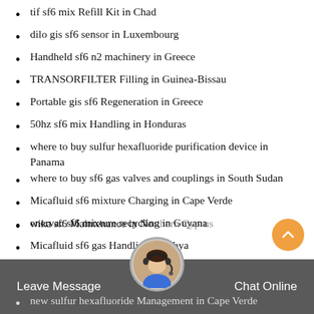tif sf6 mix Refill Kit in Chad
dilo gis sf6 sensor in Luxembourg
Handheld sf6 n2 machinery in Greece
TRANSORFILTER Filling in Guinea-Bissau
Portable gis sf6 Regeneration in Greece
50hz sf6 mix Handling in Honduras
where to buy sulfur hexafluoride purification device in Panama
where to buy sf6 gas valves and couplings in South Sudan
Micafluid sf6 mixture Charging in Cape Verde
enervac sf6 mixture recycling in Guyana
Micafluid sf6 gas Handling in Libya
sf6 End of Life Services in Kosovo
wika sf6 Maintenance in Northern Cyprus
new sulfur hexafluoride Management in Cape Verde
Leave Message   Chat Online